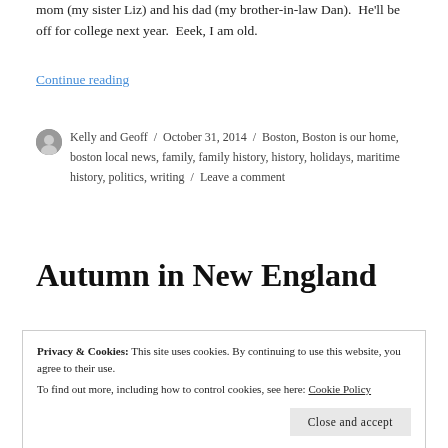mom (my sister Liz) and his dad (my brother-in-law Dan).  He'll be off for college next year.  Eeek, I am old.
Continue reading
Kelly and Geoff / October 31, 2014 / Boston, Boston is our home, boston local news, family, family history, history, holidays, maritime history, politics, writing / Leave a comment
Autumn in New England
Privacy & Cookies: This site uses cookies. By continuing to use this website, you agree to their use.
To find out more, including how to control cookies, see here: Cookie Policy
Close and accept